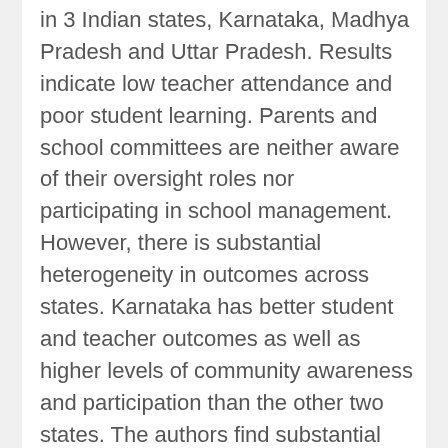in 3 Indian states, Karnataka, Madhya Pradesh and Uttar Pradesh. Results indicate low teacher attendance and poor student learning. Parents and school committees are neither aware of their oversight roles nor participating in school management. However, there is substantial heterogeneity in outcomes across states. Karnataka has better student and teacher outcomes as well as higher levels of community awareness and participation than the other two states. The authors find substantial variation in teacher effort within schools, but most observable teacher characteristics are not associated with teacher effort. One reason for low teacher effort may be lack of accountability. Regression analysis suggests low rates of teacher attendance are only part of the problem of low student